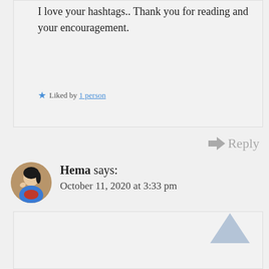I love your hashtags.. Thank you for reading and your encouragement.
Liked by 1 person
Reply
Hema says: October 11, 2020 at 3:33 pm
#MyFriendAlexa #Hemareads
this is really nice and beautifully written . loved it